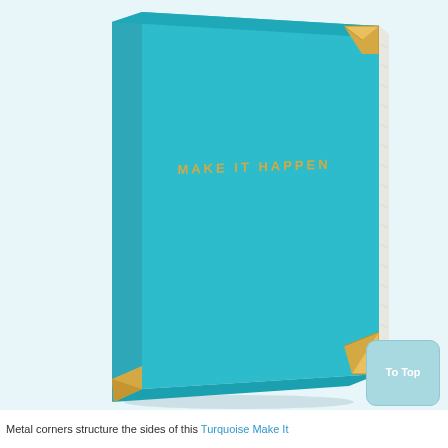[Figure (photo): A turquoise hardcover journal/notebook titled 'MAKE IT HAPPEN' in gold lettering, shown at an angle with gold metal corner protectors visible on the top-right and bottom-right corners. The book is photographed against a light blue-white background.]
To Top
Metal corners structure the sides of this Turquoise Make It